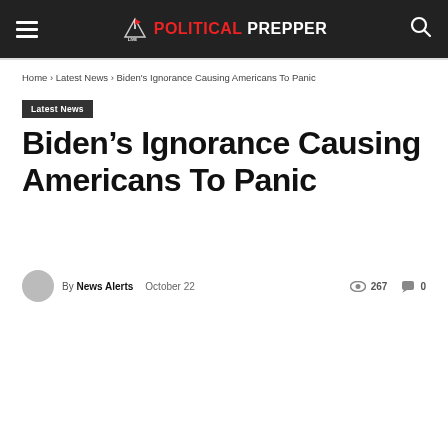LIVE POLITICAL PREPPER
Home › Latest News › Biden's Ignorance Causing Americans To Panic
Latest News
Biden's Ignorance Causing Americans To Panic
By News Alerts  October 22  267  0